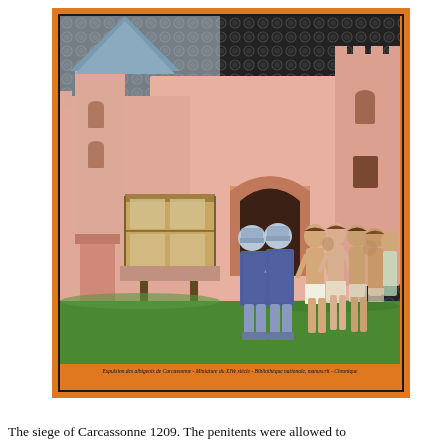[Figure (illustration): Medieval illuminated manuscript illustration showing the siege of Carcassonne 1209. Two armored knights in blue chainmail and helmets stand in the gateway of a pink castle. A group of naked or scantily clad penitents (men and women) stand to their right on green grass. On the left is a wooden structure/scaffold attached to the castle wall. The background shows a dark patterned wall. Below the image is a caption in French text on an orange border.]
The siege of Carcassonne 1209. The penitents were allowed to